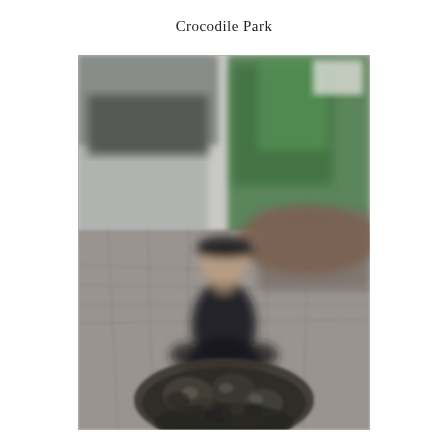Crocodile Park
[Figure (photo): A blurred outdoor photo taken at Crocodile Park. In the foreground, a coiled snake (likely a python) rests on a paved interlocking stone path. In the background, a person wearing a dark top and a cap is crouching on the path. Green fencing and vegetation are visible in the background.]